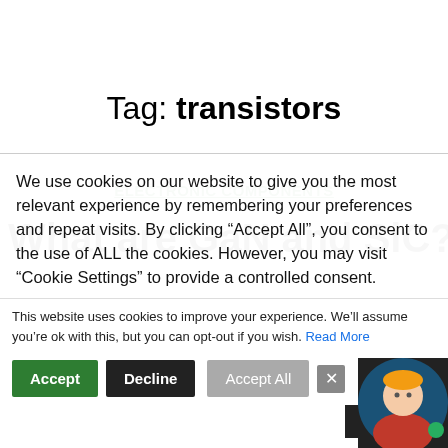Tag: transistors
ELECTRONIC COMPONENTS
What are GaN and SiC?
We use cookies on our website to give you the most relevant experience by remembering your preferences and repeat visits. By clicking “Accept All”, you consent to the use of ALL the cookies. However, you may visit "Cookie Settings" to provide a controlled consent.
This website uses cookies to improve your experience. We’ll assume you’re ok with this, but you can opt-out if you wish. Read More
Chat now